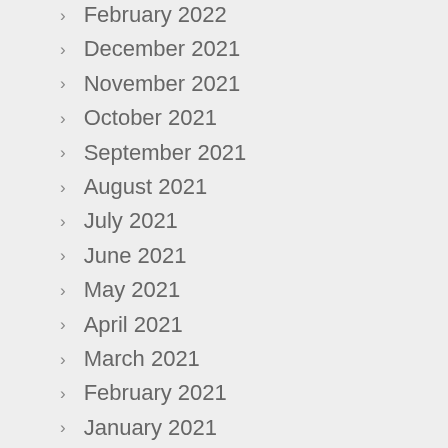February 2022
December 2021
November 2021
October 2021
September 2021
August 2021
July 2021
June 2021
May 2021
April 2021
March 2021
February 2021
January 2021